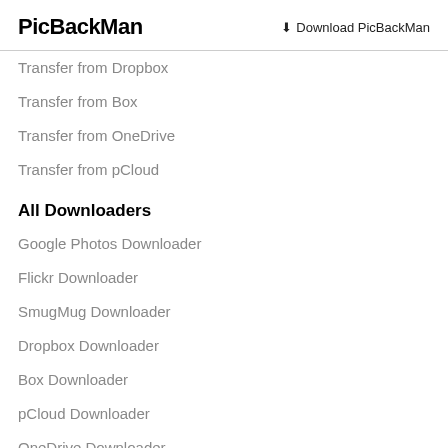PicBackMan — Download PicBackMan
Transfer from Dropbox
Transfer from Box
Transfer from OneDrive
Transfer from pCloud
All Downloaders
Google Photos Downloader
Flickr Downloader
SmugMug Downloader
Dropbox Downloader
Box Downloader
pCloud Downloader
OneDrive Downloader
Instagram Downloader
Transfer from A to B